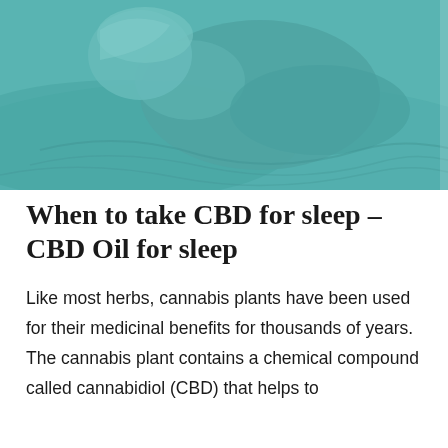[Figure (photo): A person lying down resting their head, seen from above, with a teal/blue-green color overlay. The person appears to be sleeping or resting on soft bedding.]
When to take CBD for sleep – CBD Oil for sleep
Like most herbs, cannabis plants have been used for their medicinal benefits for thousands of years. The cannabis plant contains a chemical compound called cannabidiol (CBD) that helps to